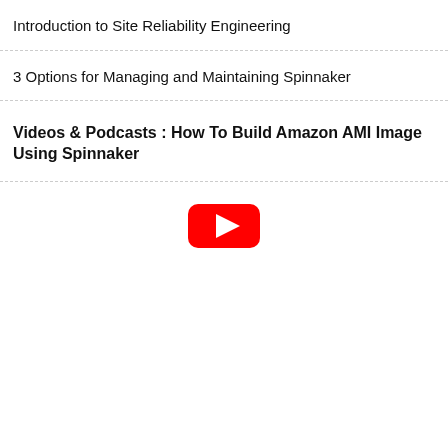Introduction to Site Reliability Engineering
3 Options for Managing and Maintaining Spinnaker
Videos & Podcasts : How To Build Amazon AMI Image Using Spinnaker
[Figure (logo): YouTube play button logo icon in red]